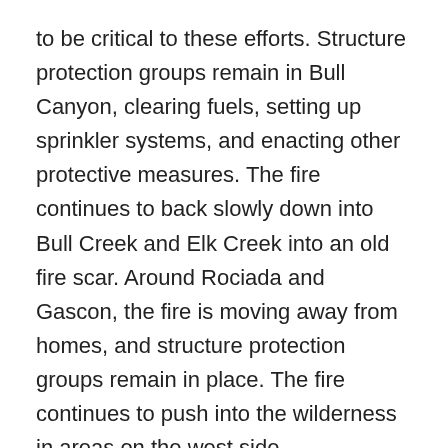to be critical to these efforts. Structure protection groups remain in Bull Canyon, clearing fuels, setting up sprinkler systems, and enacting other protective measures. The fire continues to back slowly down into Bull Creek and Elk Creek into an old fire scar. Around Rociada and Gascon, the fire is moving away from homes, and structure protection groups remain in place. The fire continues to push into the wilderness in areas on the west side.
Central (SWIMT1): The fire was active yesterday from the Angostura Trail to Serpentine Lake. Structure protection work continues in the Angostura community. The fire continues to move around Chacon, Holman, Cleveland, and Mora, but crews are working to keep it away from structures and putting in additional firelines. Near Guadalupita and Sierra Bonita, firefighters, dozers, and helicopters are working to keep the fire this broad location...